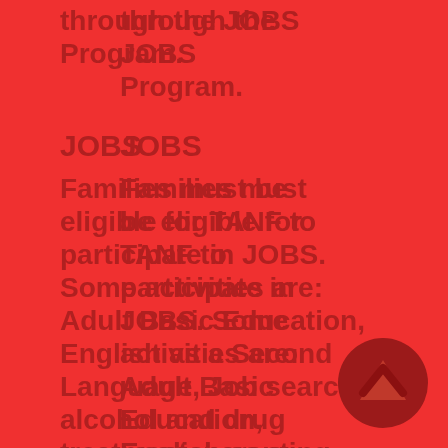through the JOBS Program.
JOBS
Families must be eligible for TANF to participate in JOBS. Some activities are: Adult Basic Education, English as a Second Language, Job search, alcohol and drug treatment, parenting, work experience, on-the-job training, services for job retention.
Child Care
Assistance for child care needed by employed low-